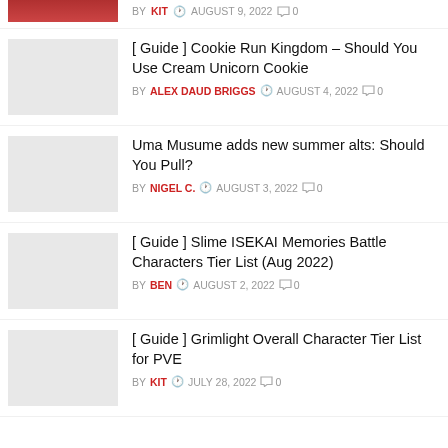BY KIT · AUGUST 9, 2022 · 0 comments
[ Guide ] Cookie Run Kingdom – Should You Use Cream Unicorn Cookie · BY ALEX DAUD BRIGGS · AUGUST 4, 2022 · 0
Uma Musume adds new summer alts: Should You Pull? · BY NIGEL C. · AUGUST 3, 2022 · 0
[ Guide ] Slime ISEKAI Memories Battle Characters Tier List (Aug 2022) · BY BEN · AUGUST 2, 2022 · 0
[ Guide ] Grimlight Overall Character Tier List for PVE · BY KIT · JULY 28, 2022 · 0